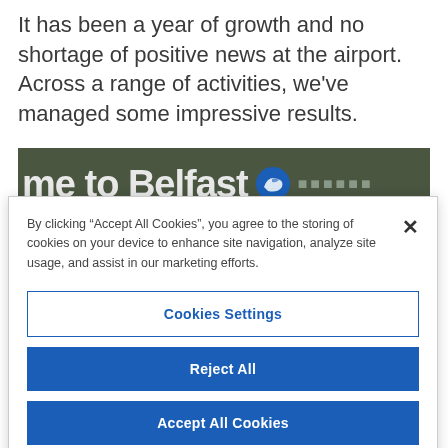It has been a year of growth and no shortage of positive news at the airport. Across a range of activities, we've managed some impressive results.
[Figure (photo): Partial photo showing a sign reading 'me to Belfast' with an airplane logo icon and blurred background]
By clicking "Accept All Cookies", you agree to the storing of cookies on your device to enhance site navigation, analyze site usage, and assist in our marketing efforts.
Cookies Settings
Reject All
Accept All Cookies